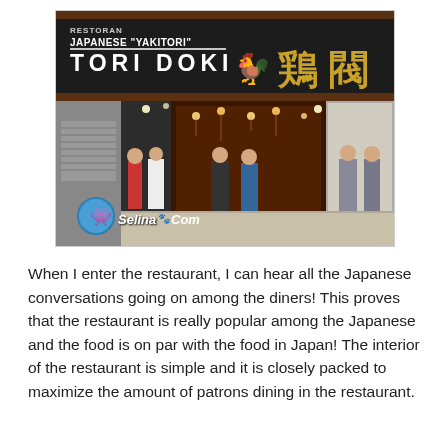[Figure (photo): Exterior photo of Restoran Japanese Yakitori Tori Doki restaurant at night. The restaurant has a dark signboard with white text reading 'RESTORAN JAPANESE YAKITORI TORI DOKI' and gold Japanese kanji characters. People are visible standing outside the entrance. A Selina.Com watermark logo appears in the bottom left of the image.]
When I enter the restaurant, I can hear all the Japanese conversations going on among the diners! This proves that the restaurant is really popular among the Japanese and the food is on par with the food in Japan! The interior of the restaurant is simple and it is closely packed to maximize the amount of patrons dining in the restaurant.